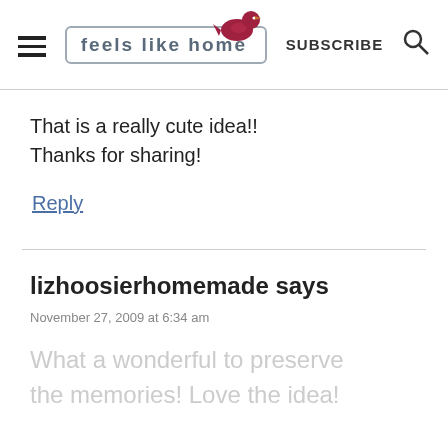feels like home — SUBSCRIBE
That is a really cute idea!! Thanks for sharing!
Reply
lizhoosierhomemade says
November 27, 2009 at 6:34 am
What a wonderful to preserve the memories! Love the idea!